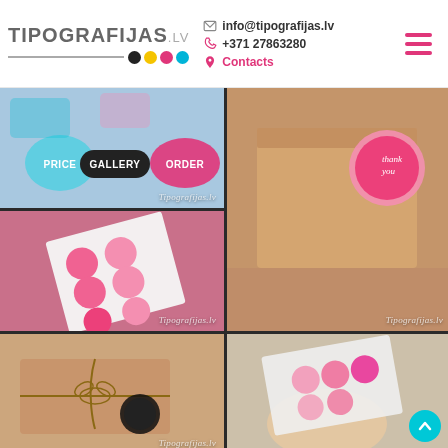[Figure (logo): Tipografijas.lv logo with CMYK color dots]
info@tipografijas.lv
+371 27863280
Contacts
[Figure (screenshot): Website gallery page showing sticker and packaging product photos in a 2-column grid layout with PRICE, GALLERY, ORDER navigation buttons. Multiple product images including sticker sheets, kraft boxes with stickers, and packaging. Tipografijas.lv watermarks on photos.]